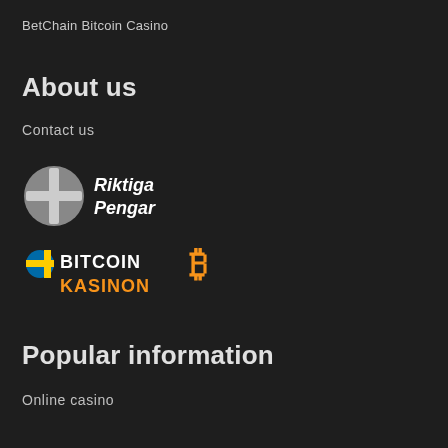BetChain Bitcoin Casino
About us
Contact us
[Figure (logo): Riktiga Pengar logo with Finnish flag circle icon and white text]
[Figure (logo): Bitcoin Kasinon logo with Swedish flag and stylized B icon]
Popular information
Online casino